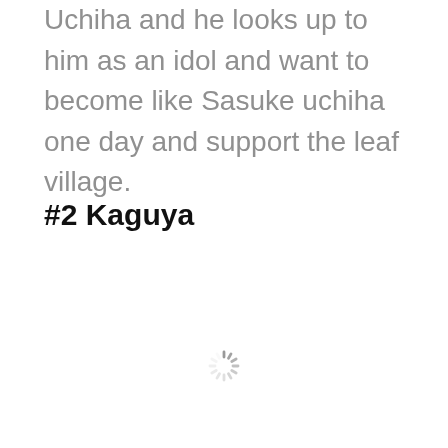Uchiha and he looks up to him as an idol and want to become like Sasuke uchiha one day and support the leaf village.
#2 Kaguya
[Figure (other): Loading spinner icon (circular dashed spinner indicating content is loading)]